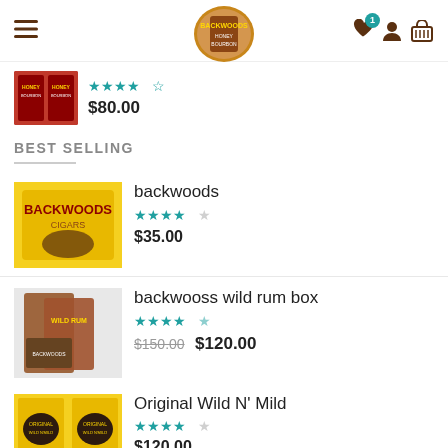Navigation header with hamburger menu, logo, and icons (wishlist with badge 1, user, basket)
$80.00
BEST SELLING
backwoods
$35.00
backwooss wild rum box
$150.00  $120.00
Original Wild N' Mild
$120.00